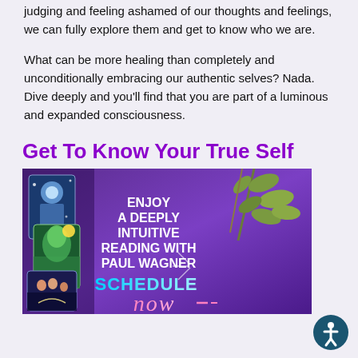judging and feeling ashamed of our thoughts and feelings, we can fully explore them and get to know who we are.
What can be more healing than completely and unconditionally embracing our authentic selves? Nada. Dive deeply and you'll find that you are part of a luminous and expanded consciousness.
Get To Know Your True Self
[Figure (illustration): Advertisement banner with purple background showing tarot-style illustrated cards on the left, eucalyptus leaves on the right, and text reading 'ENJOY A DEEPLY INTUITIVE READING WITH PAUL WAGNER' with 'SCHEDULE now' in large stylized text at the bottom.]
[Figure (logo): Accessibility icon button - circular dark teal badge with white human figure symbol (wheelchair access / accessibility icon)]